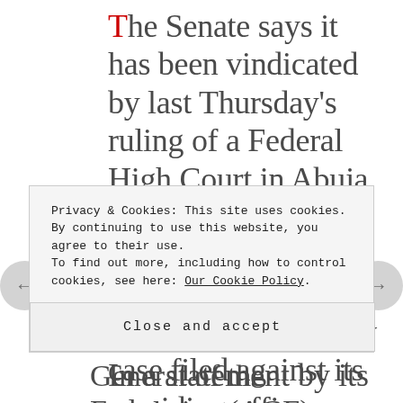The Senate says it has been vindicated by last Thursday's ruling of a Federal High Court in Abuja, presided over by Justice Gabriel Kolawole, which described the forgery case filed against its presiding officers as an abuse of court process and a decision taken against public interest.
In a statement by its spokesperson...
General of the Federation (AGF)
Privacy & Cookies: This site uses cookies. By continuing to use this website, you agree to their use. To find out more, including how to control cookies, see here: Our Cookie Policy
Close and accept